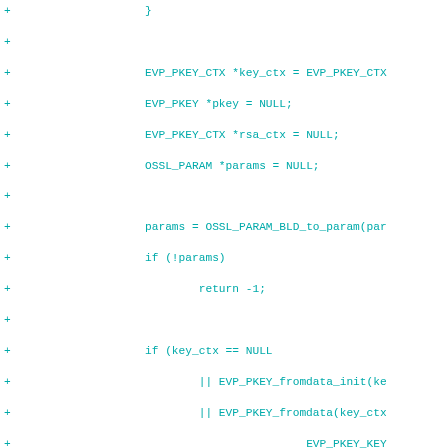Code diff showing OpenSSL EVP_PKEY and RSA session setup changes, including lines with EVP_PKEY_CTX, OSSL_PARAM, BIGNUM declarations, and hunk header @@ -904,6 +1022,7 @@ static int openssl_set_asym_se